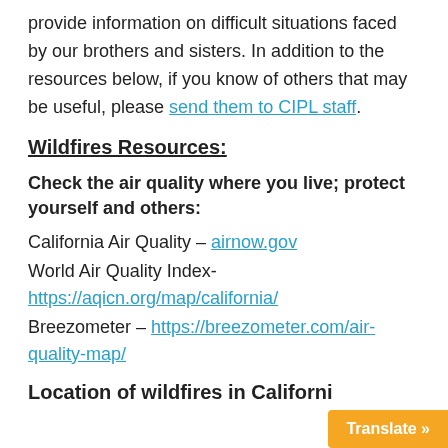provide information on difficult situations faced by our brothers and sisters. In addition to the resources below, if you know of others that may be useful, please send them to CIPL staff.
Wildfires Resources:
Check the air quality where you live; protect yourself and others:
California Air Quality – airnow.gov
World Air Quality Index- https://aqicn.org/map/california/
Breezometer – https://breezometer.com/air-quality-map/
Location of wildfires in California